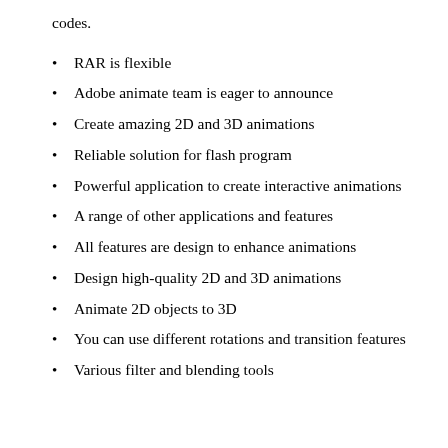codes.
RAR is flexible
Adobe animate team is eager to announce
Create amazing 2D and 3D animations
Reliable solution for flash program
Powerful application to create interactive animations
A range of other applications and features
All features are design to enhance animations
Design high-quality 2D and 3D animations
Animate 2D objects to 3D
You can use different rotations and transition features
Various filter and blending tools